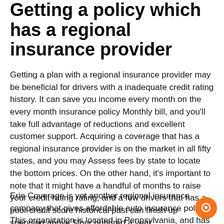Getting a policy which has a regional insurance provider
Getting a plan with a regional insurance provider may be beneficial for drivers with a inadequate credit rating history. It can save you income every month on the every month insurance policy Monthly bill, and you'll take full advantage of reductions and excellent customer support. Acquiring a coverage that has a regional insurance provider is on the market in all fifty states, and you may Assess fees by state to locate the bottom prices. On the other hand, it's important to note that it might have a handful of months to raise your credit rating rating, and a few drivers that has a poor credit score historical past can finish up spending above $four hundred a year.
Erie Coverage is yet another regional insurance company that gives affordable auto insurance policy. This organization is located in Pennsylvania, and has been in